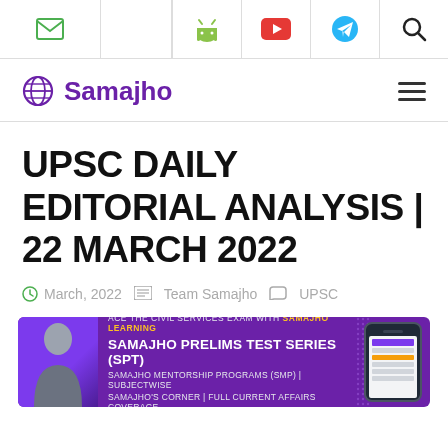Samajho - navigation bar with email, android, youtube, telegram, search icons
Samajho
UPSC DAILY EDITORIAL ANALYSIS | 22 MARCH 2022
March, 2022   Team Samajho   UPSC
[Figure (infographic): Samajho Learning promotional banner - purple background with person, text about SAMAJHO PRELIMS TEST SERIES (SPT), SAMAJHO MENTORSHIP PROGRAMS (SMP), SUBJECTWISE, SAMAJHO'S CORNER, FULL CURRENT AFFAIRS COVERAGE, and a phone mockup]